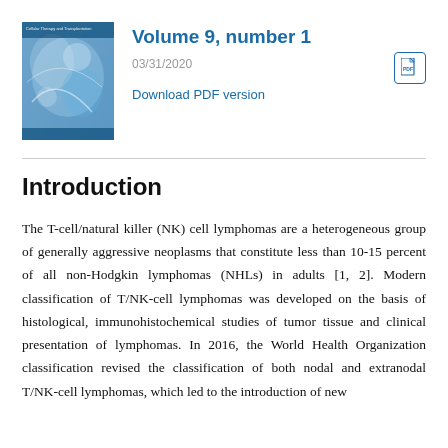[Figure (illustration): Journal cover of Cellular Therapy and Transplantation, featuring blue geometric and biological imagery]
Volume 9, number 1
03/31/2020
Download PDF version
Introduction
The T-cell/natural killer (NK) cell lymphomas are a heterogeneous group of generally aggressive neoplasms that constitute less than 10-15 percent of all non-Hodgkin lymphomas (NHLs) in adults [1, 2]. Modern classification of T/NK-cell lymphomas was developed on the basis of histological, immunohistochemical studies of tumor tissue and clinical presentation of lymphomas. In 2016, the World Health Organization classification revised the classification of both nodal and extranodal T/NK-cell lymphomas, which led to the introduction of new